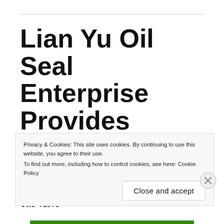Lian Yu Oil Seal Enterprise Provides Quality Valve Stem Seal
Lian Yu provides an extensive range of valve stem seals to the customers around the world. The valve
Privacy & Cookies: This site uses cookies. By continuing to use this website, you agree to their use.
To find out more, including how to control cookies, see here: Cookie Policy
Close and accept